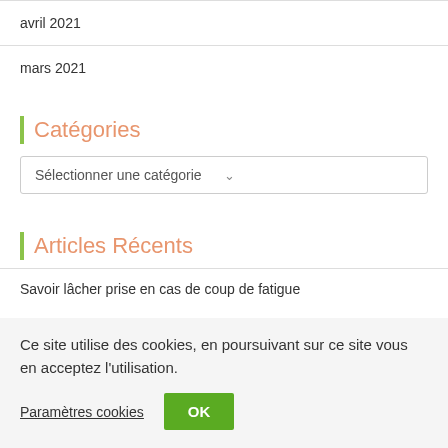avril 2021
mars 2021
Catégories
Sélectionner une catégorie
Articles Récents
Savoir lâcher prise en cas de coup de fatigue
Ce site utilise des cookies, en poursuivant sur ce site vous en acceptez l'utilisation.
Paramètres cookies   OK